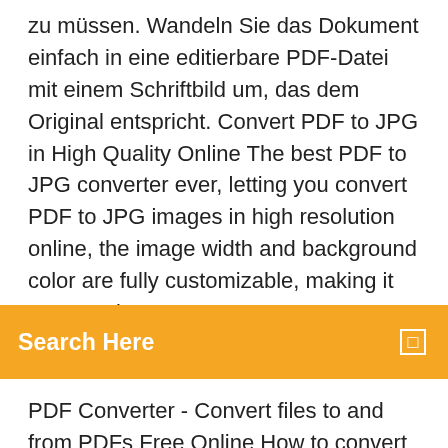zu müssen. Wandeln Sie das Dokument einfach in eine editierbare PDF-Datei mit einem Schriftbild um, das dem Original entspricht. Convert PDF to JPG in High Quality Online The best PDF to JPG converter ever, letting you convert PDF to JPG images in high resolution online, the image width and background color are fully customizable, making it easy to view
[Figure (screenshot): Orange search bar with white bold text 'Search Here' and a small white square icon on the right]
PDF Converter - Convert files to and from PDFs Free Online How to convert to PDF from other file types: Upload your file to our online PDF converter. The tool will instantly upload and transform the file into a PDF. Compress, edit or modify the output file, if necessary. Download the PDF to your device, or export it to Dropbox or Google Drive. 4 Ways to Convert JPG to PDF - wikiHow How to Convert JPG to PDF. This wikiHow teaches you how to combine multiple JPG photos into a single PDF file. You can do this using built-in software on both